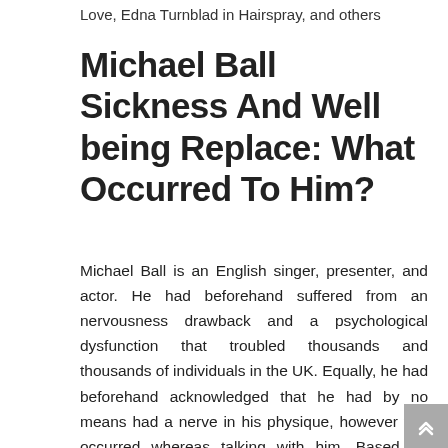Love, Edna Turnblad in Hairspray, and others
Michael Ball Sickness And Well being Replace: What Occurred To Him?
Michael Ball is an English singer, presenter, and actor. He had beforehand suffered from an nervousness drawback and a psychological dysfunction that troubled thousands and thousands of individuals in the UK. Equally, he had beforehand acknowledged that he had by no means had a nerve in his physique, however this occurred whereas talking with him. Based on categorical. co., he mentioned this to the Every day Mail final 12 months.